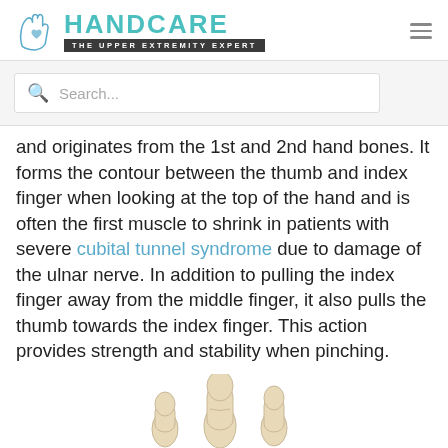HANDCARE — THE UPPER EXTREMITY EXPERT
Search...
and originates from the 1st and 2nd hand bones. It forms the contour between the thumb and index finger when looking at the top of the hand and is often the first muscle to shrink in patients with severe cubital tunnel syndrome due to damage of the ulnar nerve. In addition to pulling the index finger away from the middle finger, it also pulls the thumb towards the index finger. This action provides strength and stability when pinching.
[Figure (illustration): Three hand bone/finger illustrations at the bottom of the page showing anatomical diagrams.]